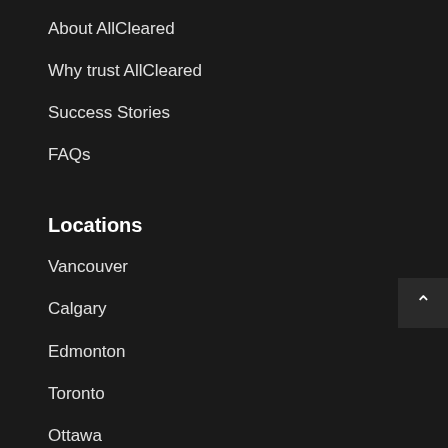About AllCleared
Why trust AllCleared
Success Stories
FAQs
Locations
Vancouver
Calgary
Edmonton
Toronto
Ottawa
Montreal
Miami
Apply